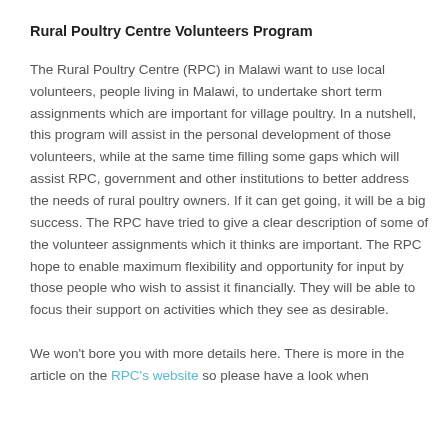Rural Poultry Centre Volunteers Program
The Rural Poultry Centre (RPC) in Malawi want to use local volunteers, people living in Malawi, to undertake short term assignments which are important for village poultry. In a nutshell, this program will assist in the personal development of those volunteers, while at the same time filling some gaps which will assist RPC, government and other institutions to better address the needs of rural poultry owners. If it can get going, it will be a big success. The RPC have tried to give a clear description of some of the volunteer assignments which it thinks are important. The RPC hope to enable maximum flexibility and opportunity for input by those people who wish to assist it financially. They will be able to focus their support on activities which they see as desirable.
We won't bore you with more details here. There is more in the article on the RPC's website so please have a look when